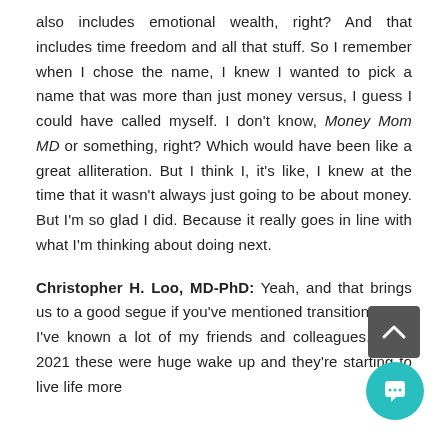also includes emotional wealth, right? And that includes time freedom and all that stuff. So I remember when I chose the name, I knew I wanted to pick a name that was more than just money versus, I guess I could have called myself. I don't know, Money Mom MD or something, right? Which would have been like a great alliteration. But I think I, it's like, I knew at the time that it wasn't always just going to be about money. But I'm so glad I did. Because it really goes in line with what I'm thinking about doing next.
Christopher H. Loo, MD-PhD: Yeah, and that brings us to a good segue if you've mentioned transitions. And I've known a lot of my friends and colleagues. 2020 2021 these were huge wake up and they're starting to live life more